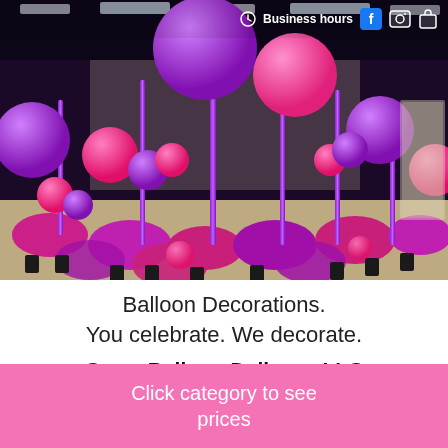[Figure (photo): A banquet hall decorated with tall balloon centerpieces in pink/magenta and purple colors on tables covered with pink and purple tablecloths, with string lights on the ceiling.]
Balloon Decorations. You celebrate. We decorate.
Crazy Balloon Delivery, LLC
Click category to see prices